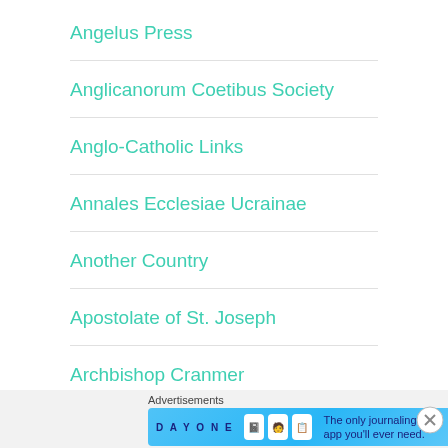Angelus Press
Anglicanorum Coetibus Society
Anglo-Catholic Links
Annales Ecclesiae Ucrainae
Another Country
Apostolate of St. Joseph
Archbishop Cranmer
Advertisements
[Figure (other): Day One journaling app advertisement banner with text: The only journaling app you'll ever need.]